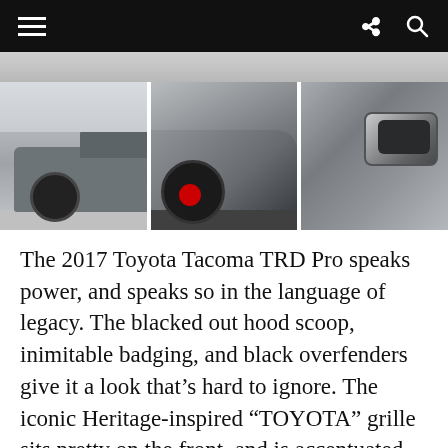Navigation bar with hamburger menu, share icon, and search icon
[Figure (photo): Top strip showing partial image above photo row]
[Figure (photo): Three thumbnail photos of a 2017 Toyota Tacoma TRD Pro: side view, front quarter view, and exhaust tip close-up]
The 2017 Toyota Tacoma TRD Pro speaks power, and speaks so in the language of legacy. The blacked out hood scoop, inimitable badging, and black overfenders give it a look that's hard to ignore. The iconic Heritage-inspired “TOYOTA” grille sits pretty on the front, and is accentuated with the black bezel enclosed monster headlamp. Driving your TRD Pro is all the more fulfilling, with the heritage branding driving home the point that Toyota is the king of off-road driving.